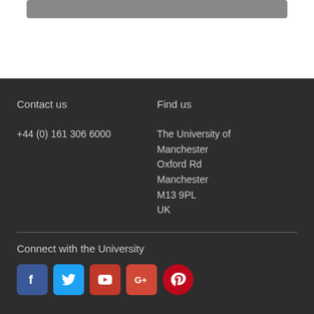[Figure (other): Gray rounded rectangle bar at top of page]
Contact us
+44 (0) 161 306 6000
Find us
The University of Manchester
Oxford Rd
Manchester
M13 9PL
UK
Connect with the University
[Figure (other): Row of social media icons: Facebook, Twitter, YouTube, Google+, Pinterest]